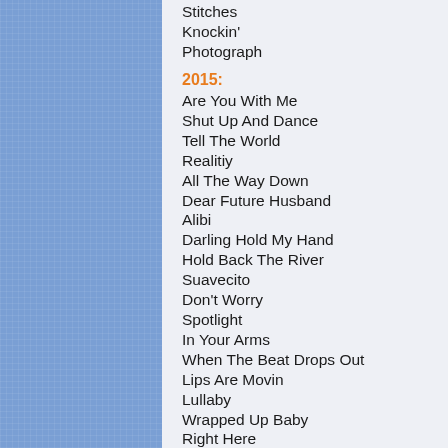Stitches
Knockin'
Photograph
2015:
Are You With Me
Shut Up And Dance
Tell The World
Realitiy
All The Way Down
Dear Future Husband
Alibi
Darling Hold My Hand
Hold Back The River
Suavecito
Don't Worry
Spotlight
In Your Arms
When The Beat Drops Out
Lips Are Movin
Lullaby
Wrapped Up Baby
Right Here
Cheerleader
Coming Home now